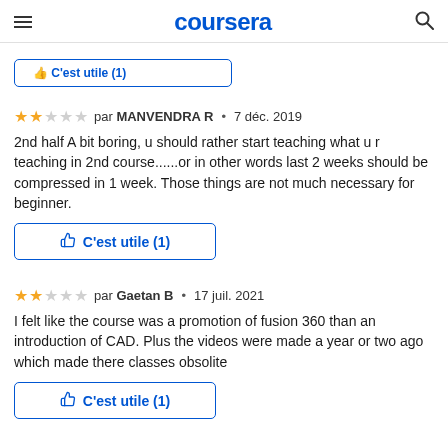coursera
2nd half A bit boring, u should rather start teaching what u r teaching in 2nd course......or in other words last 2 weeks should be compressed in 1 week. Those things are not much necessary for beginner.
C'est utile (1)
par MANVENDRA R • 7 déc. 2019
C'est utile (1)
par Gaetan B • 17 juil. 2021
I felt like the course was a promotion of fusion 360 than an introduction of CAD. Plus the videos were made a year or two ago which made there classes obsolite
C'est utile (1)